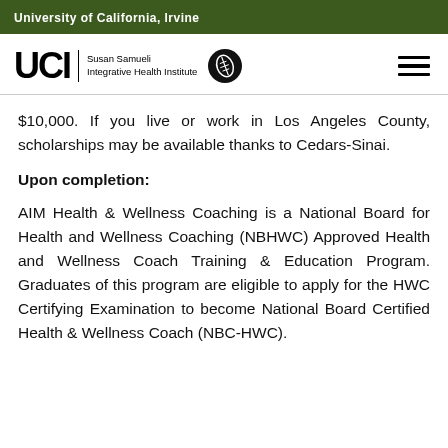University of California, Irvine
[Figure (logo): UCI Susan Samueli Integrative Health Institute logo with leaf icon and hamburger menu icon]
$10,000. If you live or work in Los Angeles County, scholarships may be available thanks to Cedars-Sinai.
Upon completion:
AIM Health & Wellness Coaching is a National Board for Health and Wellness Coaching (NBHWC) Approved Health and Wellness Coach Training & Education Program. Graduates of this program are eligible to apply for the HWC Certifying Examination to become National Board Certified Health & Wellness Coach (NBC-HWC).